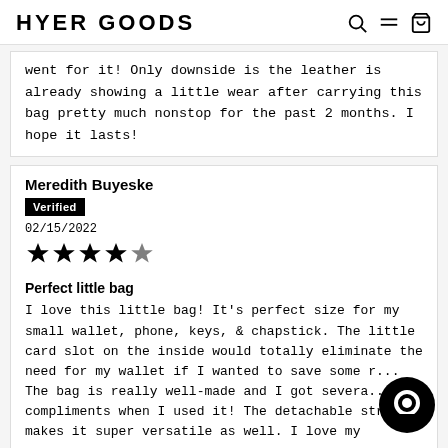HYER GOODS
went for it! Only downside is the leather is already showing a little wear after carrying this bag pretty much nonstop for the past 2 months. I hope it lasts!
Meredith Buyeske
Verified
02/15/2022
[Figure (other): 5 star rating displayed as filled black stars]
Perfect little bag
I love this little bag! It's perfect size for my small wallet, phone, keys, & chapstick. The little card slot on the inside would totally eliminate the need for my wallet if I wanted to save some r... The bag is really well-made and I got severa... compliments when I used it! The detachable strap makes it super versatile as well. I love my